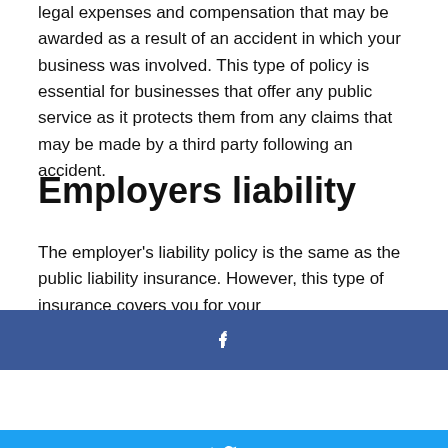legal expenses and compensation that may be awarded as a result of an accident in which your business was involved. This type of policy is essential for businesses that offer any public service as it protects them from any claims that may be made by a third party following an accident.
Employers liability
The employer's liability policy is the same as the public liability insurance. However, this type of insurance covers you for your
[Figure (infographic): Five social media share buttons stacked vertically: Facebook (blue), Twitter (light blue), WhatsApp (green), Telegram (dark blue/teal), Phone/Viber (purple)]